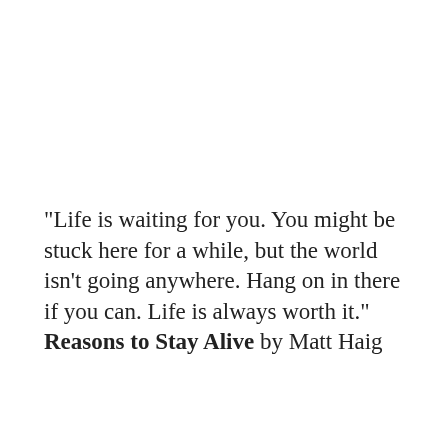"Life is waiting for you. You might be stuck here for a while, but the world isn't going anywhere. Hang on in there if you can. Life is always worth it." Reasons to Stay Alive by Matt Haig
[Figure (photo): Three circular cropped book cover images arranged horizontally. Left: dark cover with a red element. Center: blue/teal text cover showing 'THING'. Right: red and dark cover showing 'A COURT'.]
Privacy & Cookies: This site uses cookies. By continuing to use this website, you agree to their use.
To find out more, including how to control cookies, see here: Cookie Policy
Close and accept
better. And even if she hadn't reached it yet. She would.